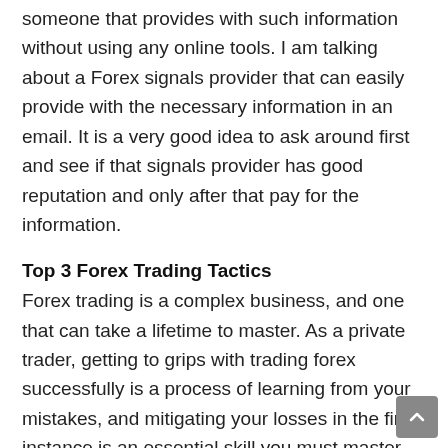someone that provides with such information without using any online tools. I am talking about a Forex signals provider that can easily provide with the necessary information in an email. It is a very good idea to ask around first and see if that signals provider has good reputation and only after that pay for the information.
Top 3 Forex Trading Tactics
Forex trading is a complex business, and one that can take a lifetime to master. As a private trader, getting to grips with trading forex successfully is a process of learning from your mistakes, and mitigating your losses in the first instance is an essential skill you must master.
Best Forex Signal Software To Meet Your Requirements
Nowadays, you can find a lot of Forex signal tools on inte but there will only be a few which will really meet your